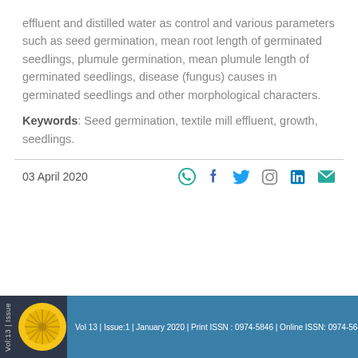effluent and distilled water as control and various parameters such as seed germination, mean root length of germinated seedlings, plumule germination, mean plumule length of germinated seedlings, disease (fungus) causes in germinated seedlings and other morphological characters.
Keywords: Seed germination, textile mill effluent, growth, seedlings.
03 April 2020
Vol 13 | Issue:1 | January 2020 | Print ISSN : 0974-5846 | Online ISSN: 0974-5645